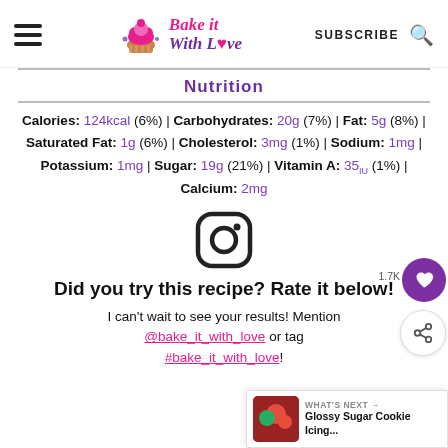Bake it With Love | SUBSCRIBE
Nutrition
Calories: 124kcal (6%) | Carbohydrates: 20g (7%) | Fat: 5g (8%) | Saturated Fat: 1g (6%) | Cholesterol: 3mg (1%) | Sodium: 1mg | Potassium: 1mg | Sugar: 19g (21%) | Vitamin A: 35IU (1%) | Calcium: 2mg
[Figure (logo): Instagram logo icon]
Did you try this recipe? Rate it below!
I can't wait to see your results! Mention @bake_it_with_love or tag #bake_it_with_love!